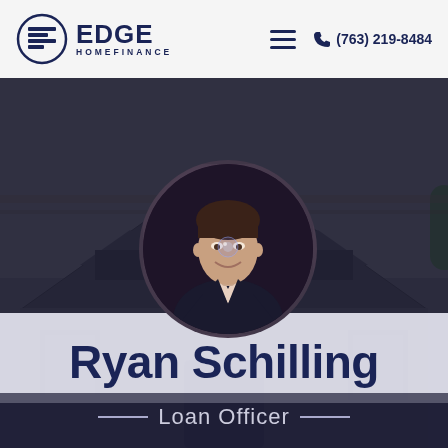[Figure (logo): Edge Home Finance logo with circular icon and text]
(763) 219-8484
[Figure (photo): Circular profile photo of Ryan Schilling, a man in a dark suit smiling, with a dark house background behind]
Ryan Schilling
— Loan Officer —